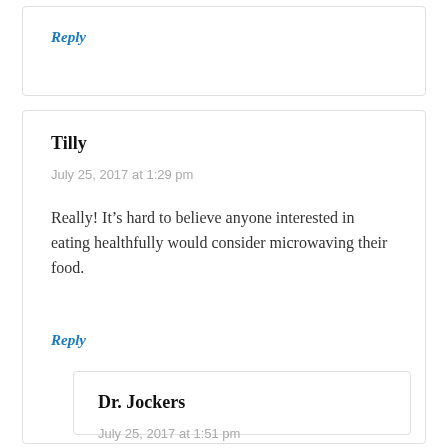Reply
Tilly
July 25, 2017 at 1:29 pm
Really! It’s hard to believe anyone interested in eating healthfully would consider microwaving their food.
Reply
Dr. Jockers
July 25, 2017 at 1:51 pm
Agreed!